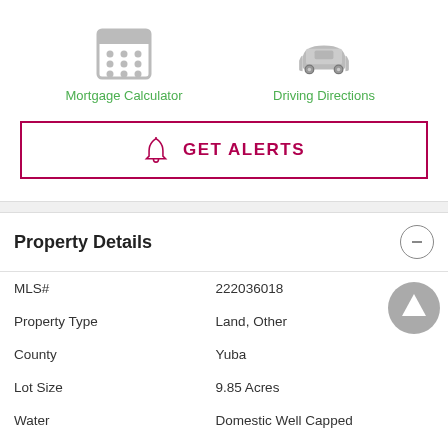[Figure (icon): Calculator icon for Mortgage Calculator]
Mortgage Calculator
[Figure (icon): Car icon for Driving Directions]
Driving Directions
GET ALERTS
Property Details
| Field | Value |
| --- | --- |
| MLS# | 222036018 |
| Property Type | Land, Other |
| County | Yuba |
| Lot Size | 9.85 Acres |
| Water | Domestic Well Capped |
| Sewer | None |